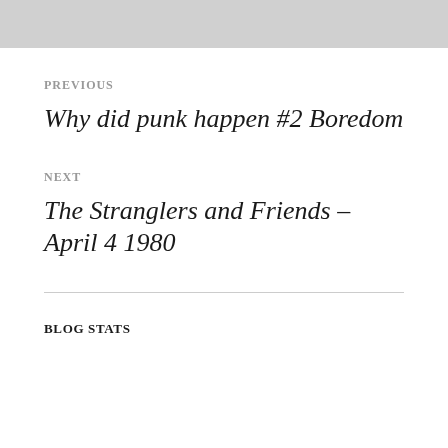PREVIOUS
Why did punk happen #2 Boredom
NEXT
The Stranglers and Friends – April 4 1980
BLOG STATS